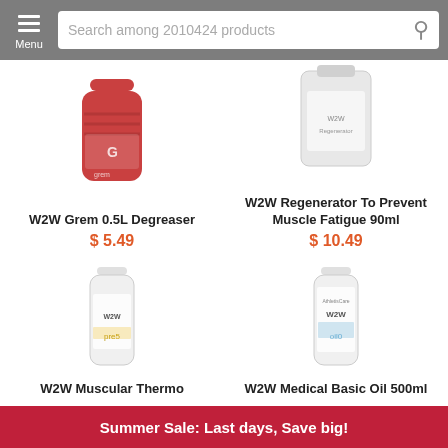Menu | Search among 2010424 products
[Figure (photo): W2W Grem 0.5L Degreaser product bottle - red/pink colored bottle]
W2W Grem 0.5L Degreaser
$ 5.49
[Figure (photo): W2W Regenerator To Prevent Muscle Fatigue 90ml product - gray/white container]
W2W Regenerator To Prevent Muscle Fatigue 90ml
$ 10.49
[Figure (photo): W2W Muscular Thermo pre5 product - white bottle with yellow label]
[Figure (photo): W2W Medical Basic Oil 500ml - white bottle with blue label]
W2W Muscular Thermo
W2W Medical Basic Oil 500ml
Summer Sale: Last days, Save big!